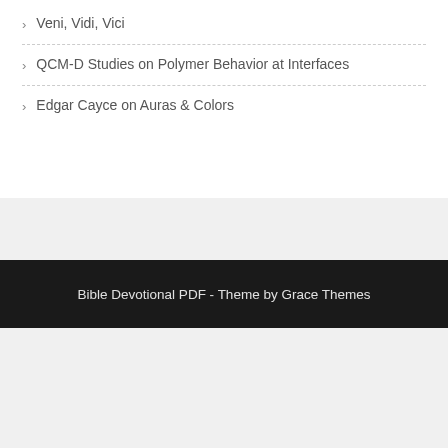Veni, Vidi, Vici
QCM-D Studies on Polymer Behavior at Interfaces
Edgar Cayce on Auras & Colors
Bible Devotional PDF - Theme by Grace Themes